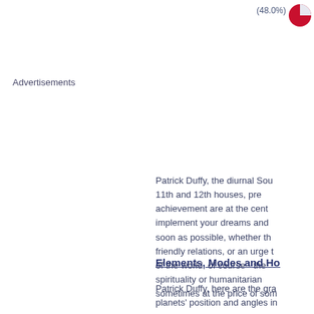(48.0%)
Advertisements
Patrick Duffy, the diurnal Sun is in the 11th and 12th houses, pre... achievement are at the cent... implement your dreams and ... soon as possible, whether th... friendly relations, or an urge t... of the world, of course - the ... spirituality or humanitarian ... sometimes at the price of som...
Elements, Modes and Ho...
Patrick Duffy, here are the gra... planets' position and angles in...